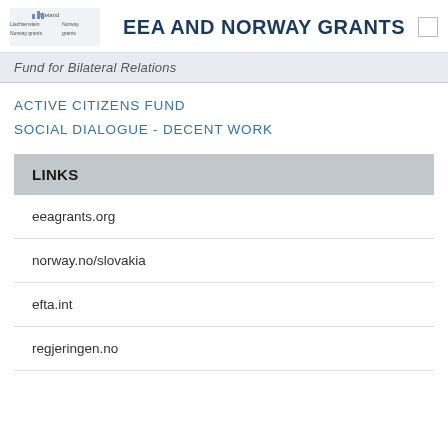EEA AND NORWAY GRANTS
Fund for Bilateral Relations
ACTIVE CITIZENS FUND
SOCIAL DIALOGUE - DECENT WORK
LINKS
eeagrants.org
norway.no/slovakia
efta.int
regjeringen.no